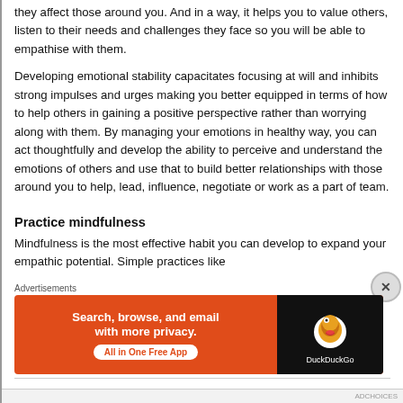they affect those around you. And in a way, it helps you to value others, listen to their needs and challenges they face so you will be able to empathise with them.
Developing emotional stability capacitates focusing at will and inhibits strong impulses and urges making you better equipped in terms of how to help others in gaining a positive perspective rather than worrying along with them. By managing your emotions in healthy way, you can act thoughtfully and develop the ability to perceive and understand the emotions of others and use that to build better relationships with those around you to help, lead, influence, negotiate or work as a part of team.
Practice mindfulness
Mindfulness is the most effective habit you can develop to expand your empathic potential. Simple practices like
[Figure (infographic): DuckDuckGo advertisement banner: orange background on left with text 'Search, browse, and email with more privacy. All in One Free App', and black background on right with DuckDuckGo duck logo and DuckDuckGo text label.]